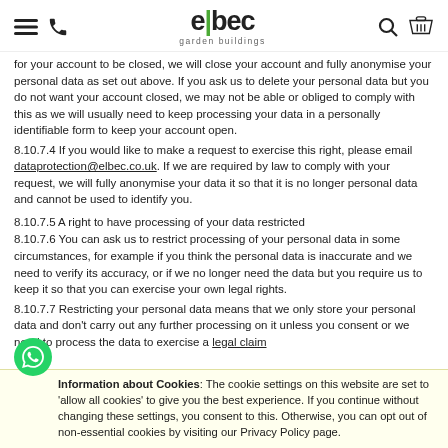elbec garden buildings
for your account to be closed, we will close your account and fully anonymise your personal data as set out above. If you ask us to delete your personal data but you do not want your account closed, we may not be able or obliged to comply with this as we will usually need to keep processing your data in a personally identifiable form to keep your account open.
8.10.7.4 If you would like to make a request to exercise this right, please email dataprotection@elbec.co.uk. If we are required by law to comply with your request, we will fully anonymise your data it so that it is no longer personal data and cannot be used to identify you.
8.10.7.5 A right to have processing of your data restricted
8.10.7.6 You can ask us to restrict processing of your personal data in some circumstances, for example if you think the personal data is inaccurate and we need to verify its accuracy, or if we no longer need the data but you require us to keep it so that you can exercise your own legal rights.
8.10.7.7 Restricting your personal data means that we only store your personal data and don't carry out any further processing on it unless you consent or we need to process the data to exercise a legal claim
Information about Cookies: The cookie settings on this website are set to 'allow all cookies' to give you the best experience. If you continue without changing these settings, you consent to this. Otherwise, you can opt out of non-essential cookies by visiting our Privacy Policy page.